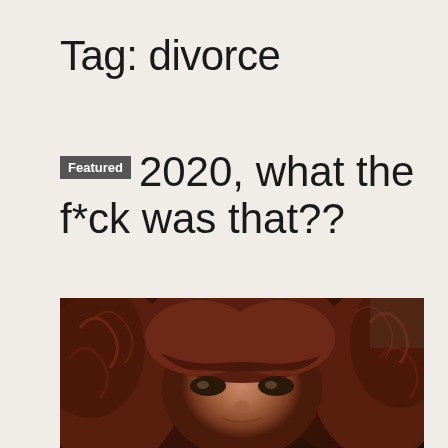Tag: divorce
Featured 2020, what the f*ck was that??
[Figure (photo): Close-up photo of a woman with curly dark auburn/red hair and bangs, looking directly at the camera with a slight expression. The photo is cropped to show mainly her face and hair filling the frame.]